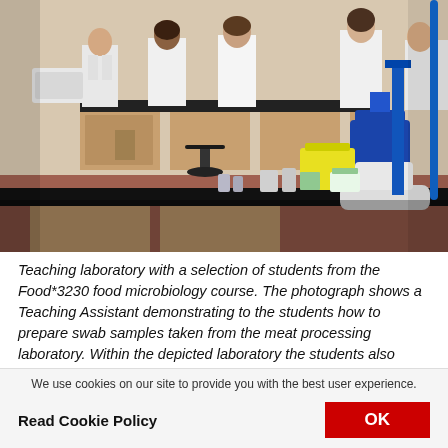[Figure (photo): Teaching laboratory with students in white lab coats working at dark-topped benches with microscopes and laboratory equipment visible in the foreground and background.]
Teaching laboratory with a selection of students from the Food*3230 food microbiology course. The photograph shows a Teaching Assistant demonstrating to the students how to prepare swab samples taken from the meat processing laboratory. Within the depicted laboratory the students also perform physiological confirmation testing of bacterial isolates along the Course teachings.
We use cookies on our site to provide you with the best user experience.
Read Cookie Policy
OK